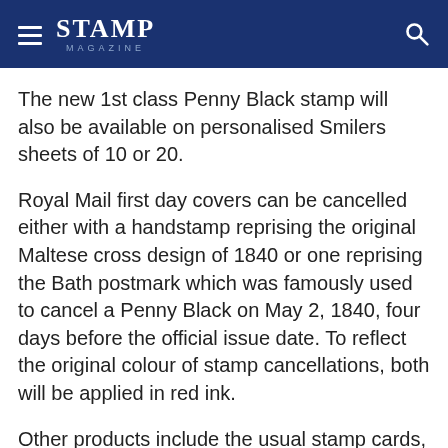STAMP MAGAZINE
The new 1st class Penny Black stamp will also be available on personalised Smilers sheets of 10 or 20.
Royal Mail first day covers can be cancelled either with a handstamp reprising the original Maltese cross design of 1840 or one reprising the Bath postmark which was famously used to cancel a Penny Black on May 2, 1840, four days before the official issue date. To reflect the original colour of stamp cancellations, both will be applied in red ink.
Other products include the usual stamp cards, a special medal cover and even a Penny Black pin badge.